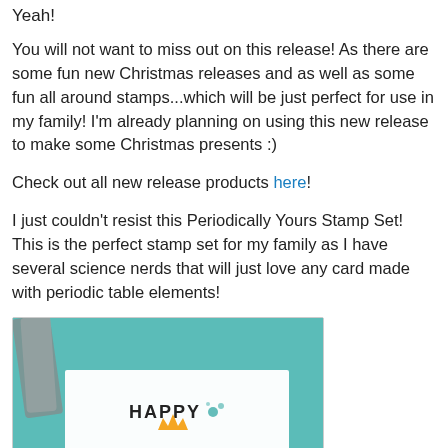Yeah!
You will not want to miss out on this release! As there are some fun new Christmas releases and as well as some fun all around stamps...which will be just perfect for use in my family!  I'm already planning on using this new release to make some Christmas presents :)
Check out all new release products here!
I just couldn't resist this Periodically Yours Stamp Set!  This is the perfect stamp set for my family as I have several science nerds that will just love any card made with periodic table elements!
[Figure (photo): A photo of a handmade birthday card featuring periodic table element stamps spelling out BIRTHDAY, with the word HAPPY above in text, on a teal/turquoise background with markers visible in the upper left.]